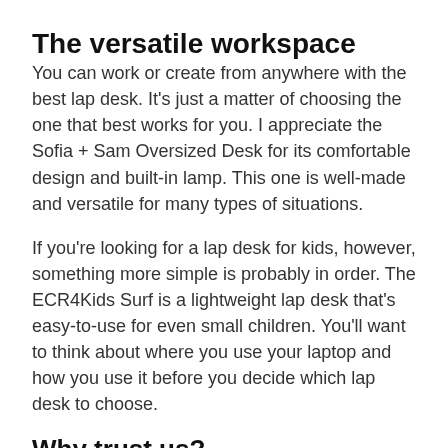The versatile workspace
You can work or create from anywhere with the best lap desk. It's just a matter of choosing the one that best works for you. I appreciate the Sofia + Sam Oversized Desk for its comfortable design and built-in lamp. This one is well-made and versatile for many types of situations.
If you're looking for a lap desk for kids, however, something more simple is probably in order. The ECR4Kids Surf is a lightweight lap desk that's easy-to-use for even small children. You'll want to think about where you use your laptop and how you use it before you decide which lap desk to choose.
Why trust us?